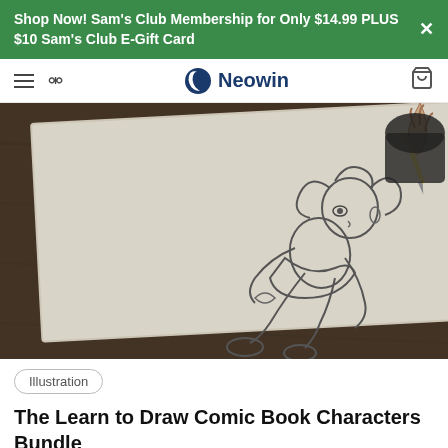Shop Now! Sam's Club Membership for Only $14.99 PLUS $10 Sam's Club E-Gift Card
Neowin
[Figure (photo): A hand holding a pencil drawing an anime/comic-style character on a sketchbook. The character is in a crouching pose with large eyes and flowing hair. A clipboard and what appears to be a smartphone are also visible on the wooden table.]
Illustration
The Learn to Draw Comic Book Characters Bundle